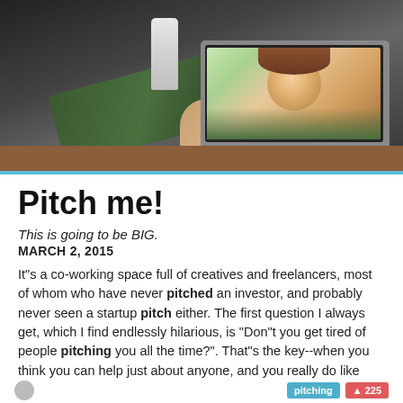[Figure (photo): Person sitting at a desk working on a laptop showing a video call with a smiling woman on screen]
Pitch me!
This is going to be BIG.
MARCH 2, 2015
It"s a co-working space full of creatives and freelancers, most of whom who have never pitched an investor, and probably never seen a startup pitch either. The first question I always get, which I find endlessly hilarious, is "Don"t you get tired of people pitching you all the time?". That"s the key--when you think you can help just about anyone, and you really do like helping people, each new pitch is an opportunity. Other pitches!